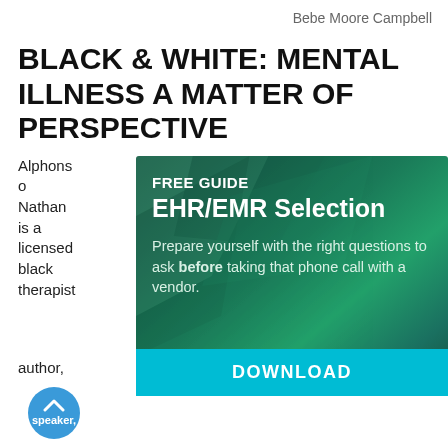Bebe Moore Campbell
BLACK & WHITE: MENTAL ILLNESS A MATTER OF PERSPECTIVE
Alfonso Nathan is a licensed black therapist, speaker, author,
[Figure (infographic): Advertisement box with dark green gradient background and geometric polygon shapes. Header reads FREE GUIDE, large text EHR/EMR Selection, body text: Prepare yourself with the right questions to ask before taking that phone call with a vendor. Cyan download button at bottom reading DOWNLOAD.]